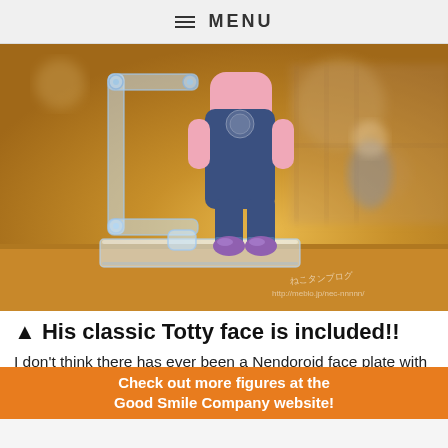≡ MENU
[Figure (photo): Close-up photo of a Nendoroid figure (Totty) showing the lower body in a dark navy apron/outfit with pink shirt, purple shoes, standing on a clear display stand, with a clear articulated arm support bracket. Background is warm bokeh with wooden shelf tones.]
▲ His classic Totty face is included!!
I don't think there has ever been a Nendoroid face plate with such an impact! Those eyes, nose and something something something...
Check out more figures at the Good Smile Company website!